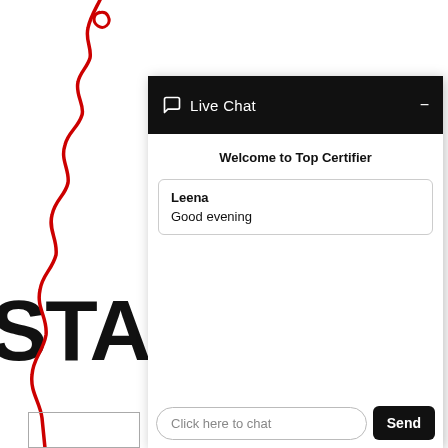[Figure (screenshot): Live Chat widget popup window showing header with chat icon and 'Live Chat' title, a welcome message 'Welcome to Top Certifier', a message from Leena saying 'Good evening', and a chat input field with placeholder 'Click here to chat' and a 'Send' button.]
STANDAR
[Figure (illustration): Red squiggly/wavy hand-drawn line running vertically on the left portion of the page.]